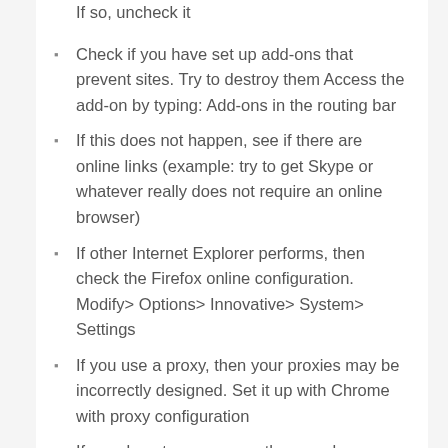If so, uncheck it
Check if you have set up add-ons that prevent sites. Try to destroy them Access the add-on by typing: Add-ons in the routing bar
If this does not happen, see if there are online links (example: try to get Skype or whatever really does not require an online browser)
If other Internet Explorer performs, then check the Firefox online configuration. Modify> Options> Innovative> System> Settings
If you use a proxy, then your proxies may be incorrectly designed. Set it up with Chrome with proxy configuration
If you do not use a proxy, then maybe you